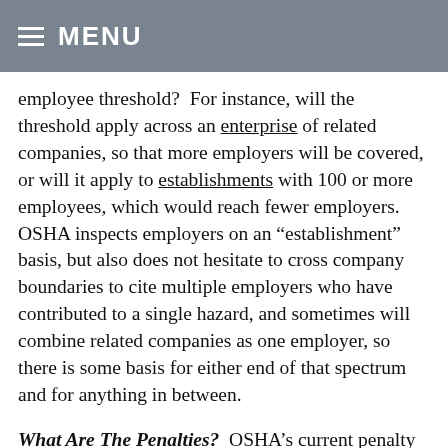≡ MENU
employee threshold?  For instance, will the threshold apply across an enterprise of related companies, so that more employers will be covered, or will it apply to establishments with 100 or more employees, which would reach fewer employers.  OSHA inspects employers on an "establishment" basis, but also does not hesitate to cross company boundaries to cite multiple employers who have contributed to a single hazard, and sometimes will combine related companies as one employer, so there is some basis for either end of that spectrum and for anything in between.
What Are The Penalties?  OSHA's current penalty structure allows up to $13,653 per instance of alleged violation, but query whether each non-compliant